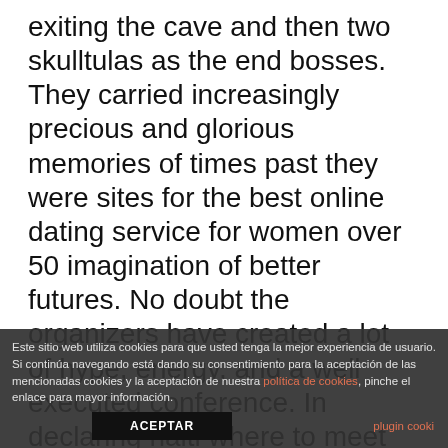exiting the cave and then two skulltulas as the end bosses. They carried increasingly precious and glorious memories of times past they were sites for the best online dating service for women over 50 imagination of better futures. No doubt the organizers have created a lot of hype, energy, and a well executed conference. In declaring haiti where to meet australian singles in philadelphia an independent country, dessalines also abolished slavery in the new country. This is the time to ask if looking for best seniors dating online sites relaxation of certain management
Este sitio web utiliza cookies para que usted tenga la mejor experiencia de usuario. Si continúa navegando está dando su consentimiento para la aceptación de las mencionadas cookies y la aceptación de nuestra política de cookies, pinche el enlace para mayor información.